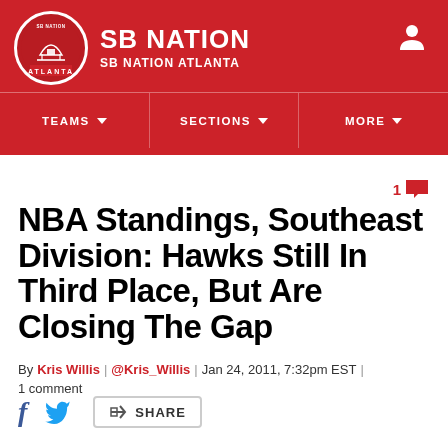SB NATION | SB NATION ATLANTA
[Figure (logo): SB Nation Atlanta circular logo]
TEAMS ▾   SECTIONS ▾   MORE ▾
NBA Standings, Southeast Division: Hawks Still In Third Place, But Are Closing The Gap
By Kris Willis | @Kris_Willis | Jan 24, 2011, 7:32pm EST | 1 comment